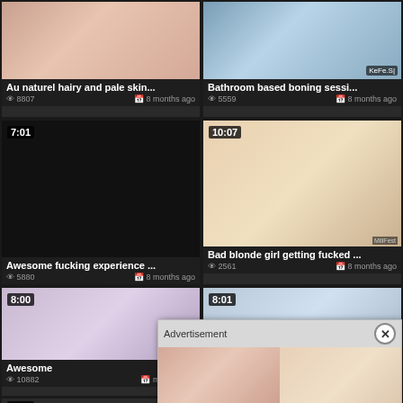[Figure (screenshot): Video thumbnail grid showing adult content website with 6 video cards in 2-column layout plus advertisement overlay]
Au naturel hairy and pale skin...
8807  8 months ago
Bathroom based boning sessi...
5559  8 months ago
7:01
Awesome fucking experience ...
5880  8 months ago
10:07
Bad blonde girl getting fucked ...
2561  8 months ago
8:00
Awesome
10882  months ago
8:01
nd lesb...
Advertisement
She Will Make The First
She Will Make The First
8:00